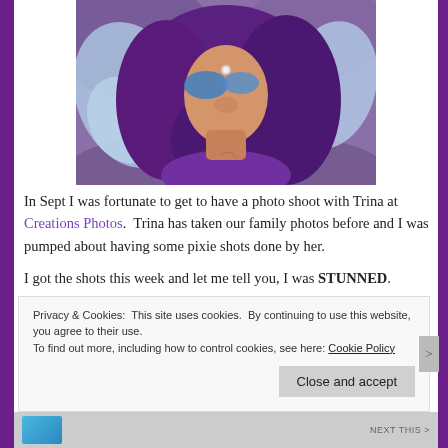[Figure (photo): Woman with purple hair and blue fairy/pixie makeup and wings, looking down, wearing a purple top, outdoors with green/natural background]
In Sept I was fortunate to get to have a photo shoot with Trina at Creations Photos.  Trina has taken our family photos before and I was pumped about having some pixie shots done by her.
I got the shots this week and let me tell you, I was STUNNED.
Privacy & Cookies: This site uses cookies. By continuing to use this website, you agree to their use.
To find out more, including how to control cookies, see here: Cookie Policy